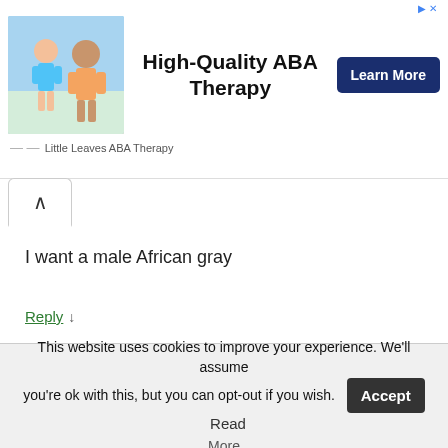[Figure (other): Advertisement banner for Little Leaves ABA Therapy showing a therapist working with a child, headline 'High-Quality ABA Therapy', Learn More button]
I want a male African gray
Reply ↓
Micheal
21. June 2016 at 11:58
Hello saw your comment regarding a male African grey I do
This website uses cookies to improve your experience. We'll assume you're ok with this, but you can opt-out if you wish.   Accept   Read More